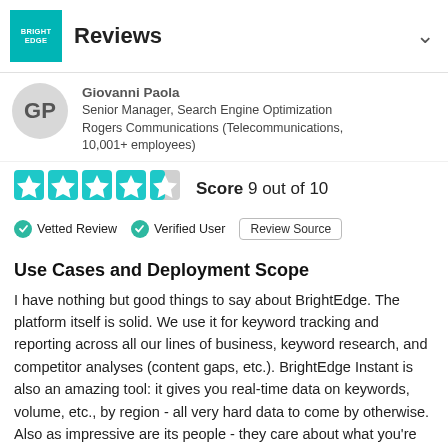Reviews
Giovanni Paola
Senior Manager, Search Engine Optimization
Rogers Communications (Telecommunications, 10,001+ employees)
[Figure (other): 4.5 out of 5 stars rating graphic (teal stars)]
Score 9 out of 10
Vetted Review   Verified User   Review Source
Use Cases and Deployment Scope
I have nothing but good things to say about BrightEdge. The platform itself is solid. We use it for keyword tracking and reporting across all our lines of business, keyword research, and competitor analyses (content gaps, etc.). BrightEdge Instant is also an amazing tool: it gives you real-time data on keywords, volume, etc., by region - all very hard data to come by otherwise. Also as impressive are its people - they care about what you're trying to